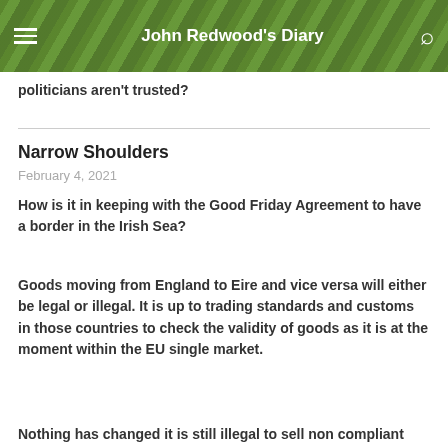John Redwood's Diary
politicians aren't trusted?
Narrow Shoulders
February 4, 2021
How is it in keeping with the Good Friday Agreement to have a border in the Irish Sea?
Goods moving from England to Eire and vice versa will either be legal or illegal. It is up to trading standards and customs in those countries to check the validity of goods as it is at the moment within the EU single market.
Nothing has changed it is still illegal to sell non compliant